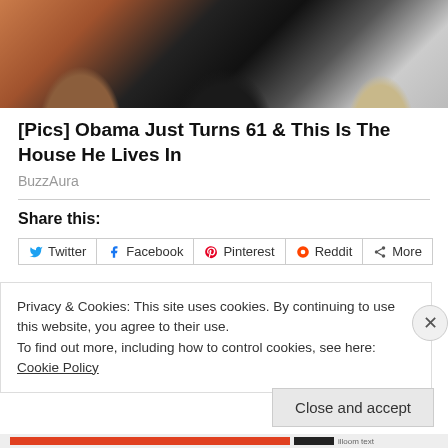[Figure (photo): Photo of people posing together, partially cropped at top]
[Pics] Obama Just Turns 61 & This Is The House He Lives In
BuzzAura
Share this:
Twitter | Facebook | Pinterest | Reddit | More
Privacy & Cookies: This site uses cookies. By continuing to use this website, you agree to their use.
To find out more, including how to control cookies, see here: Cookie Policy
Close and accept